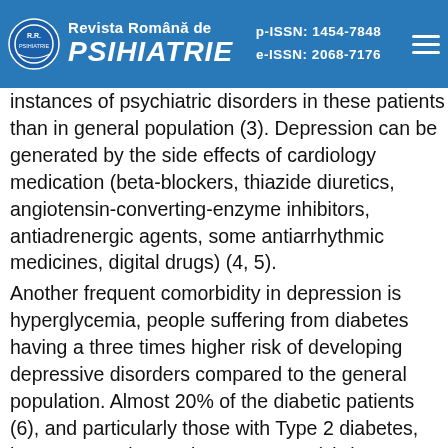Revista Română de PSIHIATRIE | p-ISSN: 1454-7848 | e-ISSN: 2068-7176
depressive patients also suffering from ... instances of psychiatric disorders in these patients than in general population (3). Depression can be generated by the side effects of cardiology medication (beta-blockers, thiazide diuretics, angiotensin-converting-enzyme inhibitors, antiadrenergic agents, some antiarrhythmic medicines, digital drugs) (4, 5).
Another frequent comorbidity in depression is hyperglycemia, people suffering from diabetes having a three times higher risk of developing depressive disorders compared to the general population. Almost 20% of the diabetic patients (6), and particularly those with Type 2 diabetes, have severe depressive symptoms (7) that increase with 86% the costs of care in these patients compared to the care of the patients with diabetes only (8). The comorbidity of these two medical conditions may also appear as a side effect of the antidepressant or antipsychotic medication used to treat depression (9).